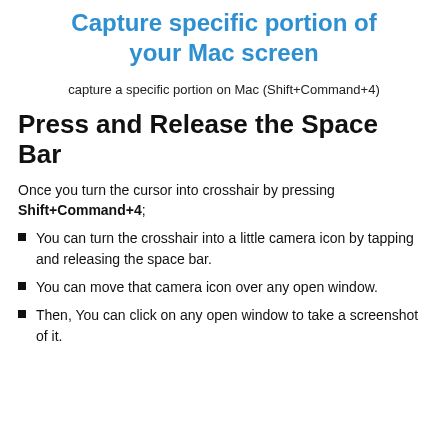Capture specific portion of your Mac screen
capture a specific portion on Mac (Shift+Command+4)
Press and Release the Space Bar
Once you turn the cursor into crosshair by pressing Shift+Command+4;
You can turn the crosshair into a little camera icon by tapping and releasing the space bar.
You can move that camera icon over any open window.
Then, You can click on any open window to take a screenshot of it.